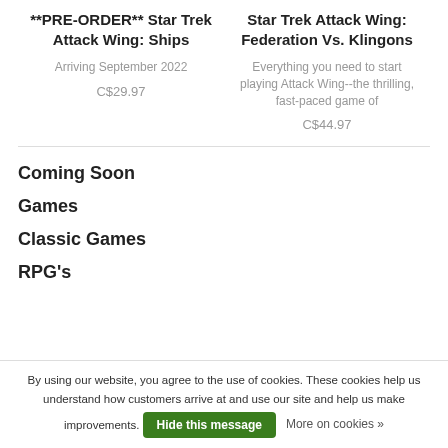**PRE-ORDER** Star Trek Attack Wing: Ships
Arriving September 2022
C$29.97
Star Trek Attack Wing: Federation Vs. Klingons
Everything you need to start playing Attack Wing--the thrilling, fast-paced game of
C$44.97
Coming Soon
Games
Classic Games
RPG's
By using our website, you agree to the use of cookies. These cookies help us understand how customers arrive at and use our site and help us make improvements.
Hide this message
More on cookies »